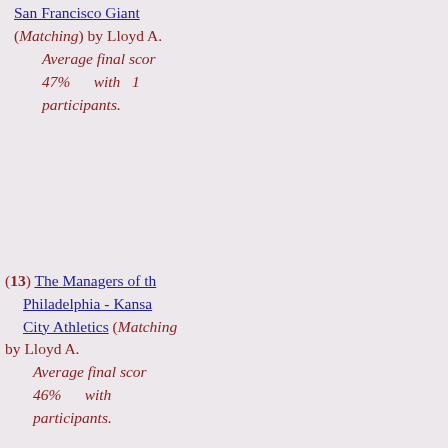San Francisco Giants (Matching) by Lloyd A. Average final score 47% with 1 participants.
(13) The Managers of the Philadelphia - Kansas City Athletics (Matching) by Lloyd A. Average final score 46% with participants.
(17) The Managers of the Oakland A's Matching (Matching) by Lloyd A. Average final score 46% with 1 participants.
(16) The Oakland Raiders Head Coaches Matching